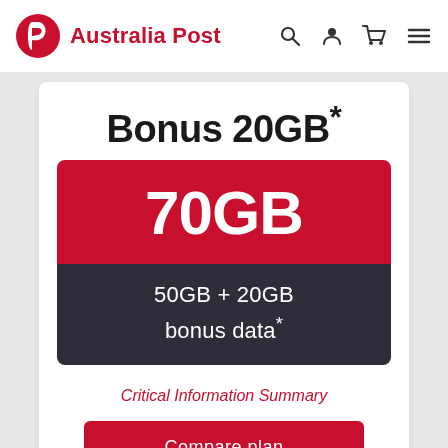Australia Post
Bonus 20GB*
70GB
50GB + 20GB bonus data*
Critical Information Summary
Compare plan